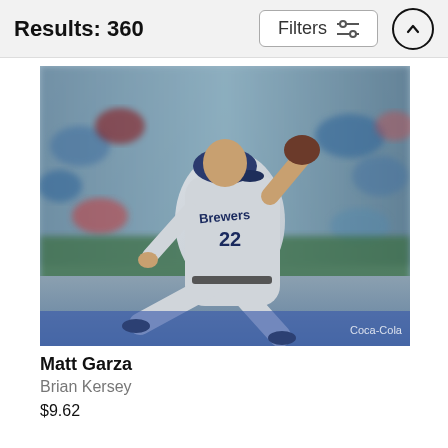Results: 360
[Figure (photo): Matt Garza, Milwaukee Brewers pitcher #22, in mid-pitch motion on the mound, wearing grey Brewers uniform, with crowd in background]
Matt Garza
Brian Kersey
$9.62
[Figure (photo): Partial view of another baseball photo cropped at bottom of page]